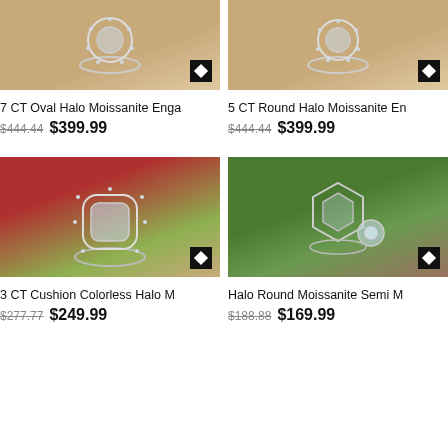[Figure (photo): Top-left product photo: Oval Halo Moissanite ring on wooden surface, small brand logo watermark]
7 CT Oval Halo Moissanite Enga
$444.44  $399.99
[Figure (photo): Top-right product photo: Round Halo Moissanite ring on wooden surface, small brand logo watermark]
5 CT Round Halo Moissanite En
$444.44  $399.99
[Figure (photo): Bottom-left product photo: Cushion Colorless Halo Moissanite ring with red rose background]
3 CT Cushion Colorless Halo M
$277.77  $249.99
[Figure (photo): Bottom-right product photo: Halo Round Moissanite Semi Mount ring set on stone surface with green leaf background]
Halo Round Moissanite Semi M
$188.88  $169.99